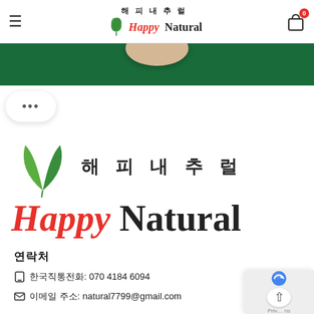해피내추럴 Happy Natural — navigation bar with hamburger menu and cart icon (0 items)
[Figure (photo): Green banner with a beige/wooden round plate or bowl visible at the top center against a dark green background]
[Figure (other): Ellipsis (···) button in a rounded white card]
[Figure (logo): Happy Natural logo: green leaf icon with Korean text 해피내추럴 and English text 'Happy' in red italic and 'Natural' in black bold]
연락처
한국직통전화: 070 4184 6094
이메일 주소: natural7799@gmail.com